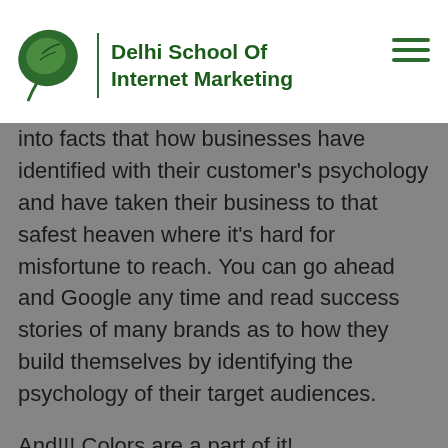Delhi School Of Internet Marketing
into facts that how businesses have identified with their customer's psychology and have taken their business to that safest heaven where it's hard for misfortune to reach. You can go ahead and Google any time and read success stories of many brands as to how they build themselves by identifying the psychology of their target audiences.
And!!! Colors are a part of it!
Anyway, let's not have a philosophical